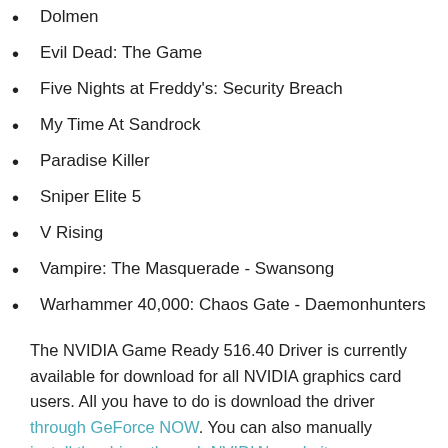Dolmen
Evil Dead: The Game
Five Nights at Freddy's: Security Breach
My Time At Sandrock
Paradise Killer
Sniper Elite 5
V Rising
Vampire: The Masquerade - Swansong
Warhammer 40,000: Chaos Gate - Daemonhunters
The NVIDIA Game Ready 516.40 Driver is currently available for download for all NVIDIA graphics card users. All you have to do is download the driver through GeForce NOW. You can also manually install the driver through NVIDIA's website.